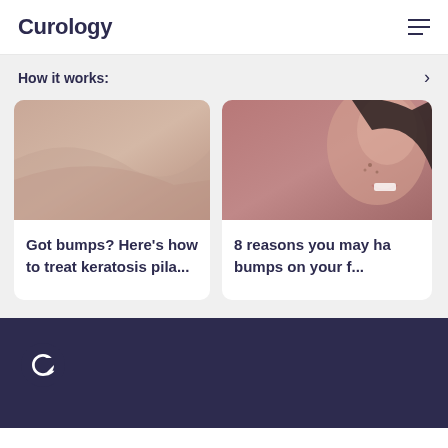Curology
How it works:
[Figure (photo): Close-up of skin with bumps (keratosis pilaris), beige/pink skin tones]
Got bumps? Here's how to treat keratosis pila...
[Figure (photo): Smiling person with dark hair against pink/rose background, freckles visible on cheek]
8 reasons you may have bumps on your f...
[Figure (logo): Curology white C logo on dark navy background]